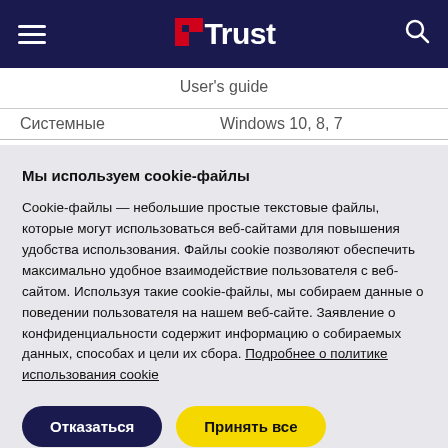[Figure (logo): Trust brand logo with red geometric icon and white 'Trust' text on dark navy background navigation bar with hamburger menu and search icon]
User's guide
Системные   Windows 10, 8, 7
Мы используем cookie-файлы
Cookie-файлы — небольшие простые текстовые файлы, которые могут использоваться веб-сайтами для повышения удобства использования. Файлы cookie позволяют обеспечить максимально удобное взаимодействие пользователя с веб-сайтом. Используя такие cookie-файлы, мы собираем данные о поведении пользователя на нашем веб-сайте. Заявление о конфиденциальности содержит информацию о собираемых данных, способах и цели их сбора. Подробнее о политике использования cookie
Отказаться   Принять все
Настройки файлов cookie